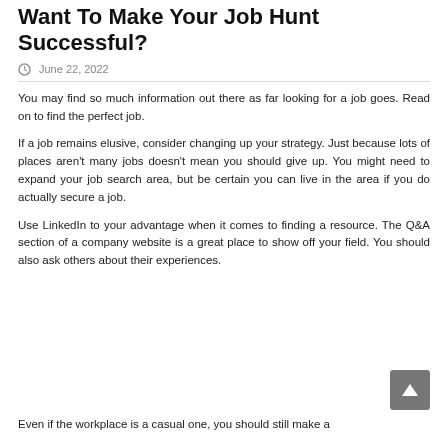Want To Make Your Job Hunt Successful?
June 22, 2022
You may find so much information out there as far looking for a job goes. Read on to find the perfect job.
If a job remains elusive, consider changing up your strategy. Just because lots of places aren't many jobs doesn't mean you should give up. You might need to expand your job search area, but be certain you can live in the area if you do actually secure a job.
Use LinkedIn to your advantage when it comes to finding a resource. The Q&A section of a company website is a great place to show off your field. You should also ask others about their experiences.
Even if the workplace is a casual one, you should still make a good impression on the hiring...